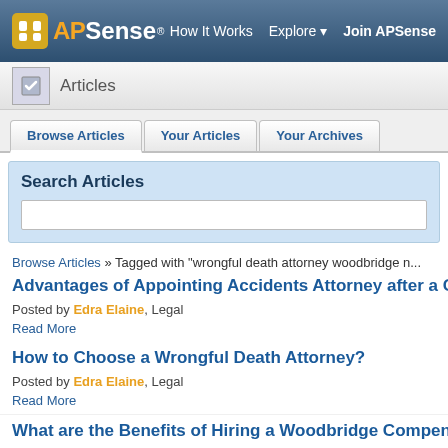APSense — How It Works  Explore  Join APSense
Articles
Browse Articles | Your Articles | Your Archives
Search Articles
Browse Articles » Tagged with "wrongful death attorney woodbridge n..."
Advantages of Appointing Accidents Attorney after a Car Acciden...
Posted by Edra Elaine, Legal
Read More
How to Choose a Wrongful Death Attorney?
Posted by Edra Elaine, Legal
Read More
What are the Benefits of Hiring a Woodbridge Compensation Atto...